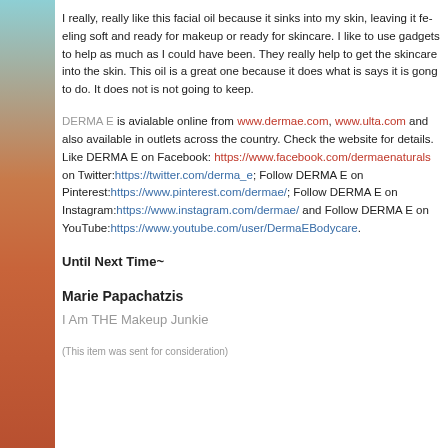I really, really like this facial oil because it sinks into my skin, leaving it feeling soft and ready for makeup or ready for skincare. I like to use gadgets to help as much as I could have been. They really help to get the skincare into the skin. This oil is a great one because it does what is says it is gong to do. It does not is not going to keep.
DERMA E is avialable online from www.dermae.com, www.ulta.com and also available in outlets across the country. Check the website for details. Like DERMA E on Facebook: https://www.facebook.com/dermaenaturals on Twitter:https://twitter.com/derma_e; Follow DERMA E on Pinterest:https://www.pinterest.com/dermae/; Follow DERMA E on Instagram:https://www.instagram.com/dermae/ and Follow DERMA E on YouTube:https://www.youtube.com/user/DermaEBodycare.
Until Next Time~
Marie Papachatzis
I Am THE Makeup Junkie
(This item was sent for consideration)